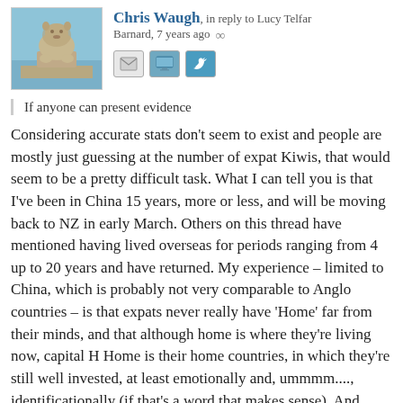Chris Waugh, in reply to Lucy Telfar Barnard, 7 years ago
[Figure (photo): Avatar photo of Chris Waugh showing a stone lion statue near water]
If anyone can present evidence
Considering accurate stats don't seem to exist and people are mostly just guessing at the number of expat Kiwis, that would seem to be a pretty difficult task. What I can tell you is that I've been in China 15 years, more or less, and will be moving back to NZ in early March. Others on this thread have mentioned having lived overseas for periods ranging from 4 up to 20 years and have returned. My experience – limited to China, which is probably not very comparable to Anglo countries – is that expats never really have 'Home' far from their minds, and that although home is where they're living now, capital H Home is their home countries, in which they're still well invested, at least emotionally and, ummmm...., identificationally (if that's a word that makes sense). And those who break off their ties to the country of their birth aren't particularly interested